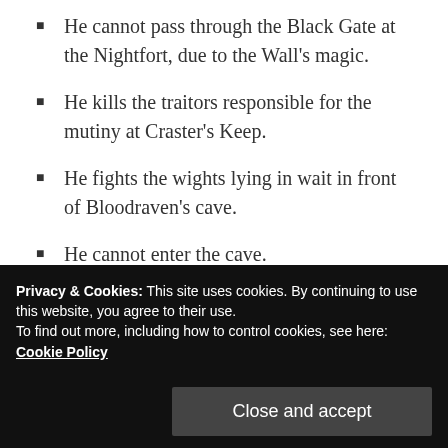He cannot pass through the Black Gate at the Nightfort, due to the Wall's magic.
He kills the traitors responsible for the mutiny at Craster's Keep.
He fights the wights lying in wait in front of Bloodraven's cave.
He cannot enter the cave.
He was killed long ago.
A comparison of the above list reveals
Privacy & Cookies: This site uses cookies. By continuing to use this website, you agree to their use. To find out more, including how to control cookies, see here: Cookie Policy
Close and accept
of giant spiders nor do we have evidence